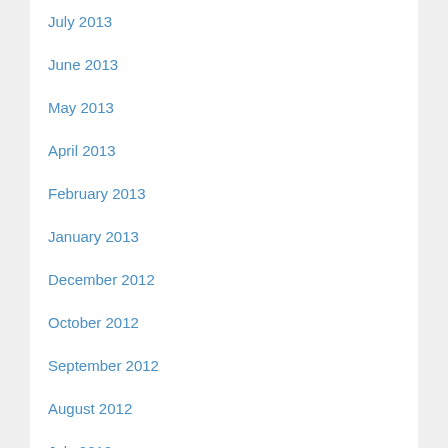July 2013
June 2013
May 2013
April 2013
February 2013
January 2013
December 2012
October 2012
September 2012
August 2012
July 2012
June 2012